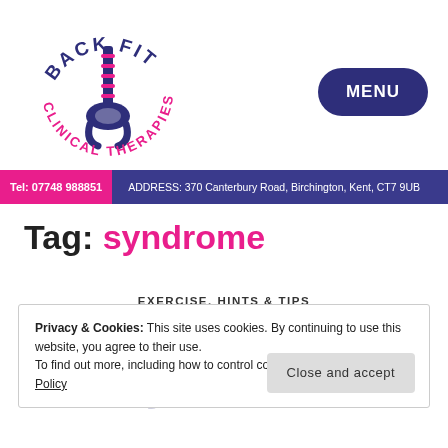[Figure (logo): Back Fit Clinical Therapies logo — circular design with spine illustration, blue and pink text]
MENU
Tel: 07748 988851   ADDRESS: 370 Canterbury Road, Birchington, Kent, CT7 9UB
Tag: syndrome
EXERCISE. HINTS & TIPS
Privacy & Cookies: This site uses cookies. By continuing to use this website, you agree to their use. To find out more, including how to control cookies, see here: Cookie Policy
Close and accept